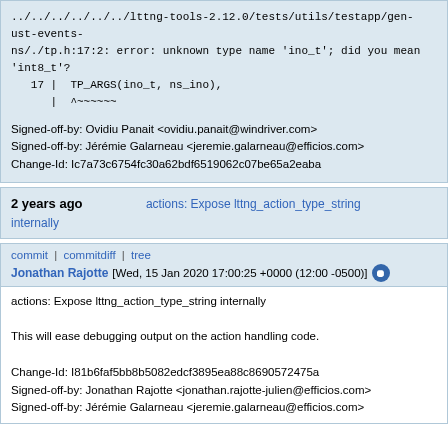../../../../../../lttng-tools-2.12.0/tests/utils/testapp/gen-ust-events-ns/./tp.h:17:2: error: unknown type name 'ino_t'; did you mean 'int8_t'?
   17 |  TP_ARGS(ino_t, ns_ino),
      | ^~~~~~~

Signed-off-by: Ovidiu Panait <ovidiu.panait@windriver.com>
Signed-off-by: Jérémie Galarneau <jeremie.galarneau@efficios.com>
Change-Id: Ic7a73c6754fc30a62bdf6519062c07be65a2eaba
2 years ago
actions: Expose lttng_action_type_string internally
commit | commitdiff | tree
Jonathan Rajotte [Wed, 15 Jan 2020 17:00:25 +0000 (12:00 -0500)]
actions: Expose lttng_action_type_string internally

This will ease debugging output on the action handling code.

Change-Id: I81b6faf5bb8b5082edcf3895ea88c8690572475a
Signed-off-by: Jonathan Rajotte <jonathan.rajotte-julien@efficios.com>
Signed-off-by: Jérémie Galarneau <jeremie.galarneau@efficios.com>